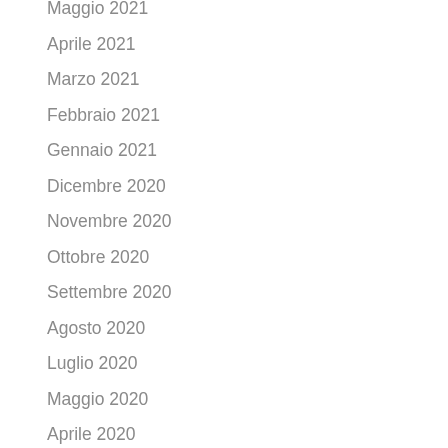Maggio 2021
Aprile 2021
Marzo 2021
Febbraio 2021
Gennaio 2021
Dicembre 2020
Novembre 2020
Ottobre 2020
Settembre 2020
Agosto 2020
Luglio 2020
Maggio 2020
Aprile 2020
Marzo 2020
Gennaio 2020